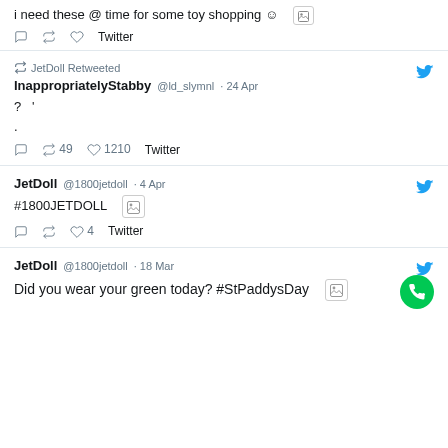i need these @ time for some toy shopping 😊 [image icon]
💬  🔁  🤍  Twitter
🔁 JetDoll Retweeted
InappropriatelyStabby @ld_slymnl · 24 Apr
? ' .
💬  🔁 49  🤍 1210  Twitter
JetDoll @1800jetdoll · 4 Apr
#1800JETDOLL [image icon]
💬  🔁  🤍 4  Twitter
JetDoll @1800jetdoll · 18 Mar
Did you wear your green today? #StPaddysDay [image icon]